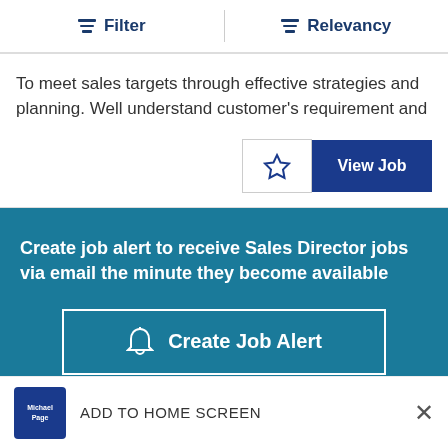Filter   Relevancy
To meet sales targets through effective strategies and planning. Well understand customer's requirement and
View Job
Create job alert to receive Sales Director jobs via email the minute they become available
Create Job Alert
ADD TO HOME SCREEN